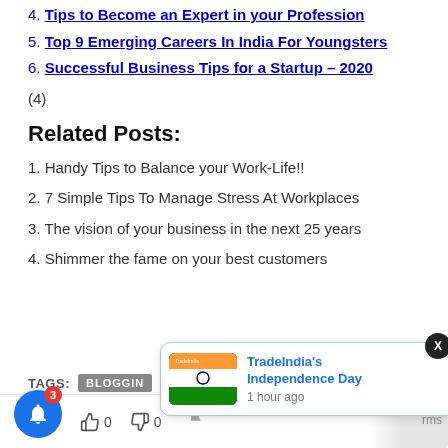4. Tips to Become an Expert in your Profession
5. Top 9 Emerging Careers In India For Youngsters
6. Successful Business Tips for a Startup – 2020
(4)
Related Posts:
1. Handy Tips to Balance your Work-Life!!
2. 7 Simple Tips To Manage Stress At Workplaces
3. The vision of your business in the next 25 years
4. Shimmer the fame on your best customers
TAGS: BLOGGIN
[Figure (screenshot): Notification popup showing TradeIndia's Independence Day campaign image with text 'TradeIndia's Independence Day' and '1 hour ago'. Close button (X) visible. Bell icon with badge 3 at bottom left.]